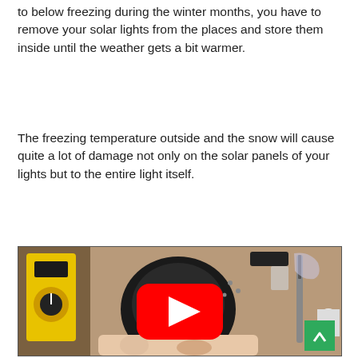to below freezing during the winter months, you have to remove your solar lights from the places and store them inside until the weather gets a bit warmer.
The freezing temperature outside and the snow will cause quite a lot of damage not only on the solar panels of your lights but to the entire light itself.
[Figure (screenshot): A YouTube video thumbnail showing a disassembled solar light being repaired, with a yellow multimeter, screwdriver, and various components on a workbench. A YouTube play button is overlaid in the center. A green scroll-to-top button appears in the bottom right corner.]